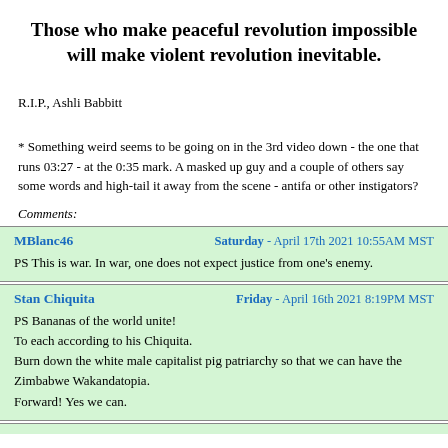Those who make peaceful revolution impossible will make violent revolution inevitable.
R.I.P., Ashli Babbitt
* Something weird seems to be going on in the 3rd video down - the one that runs 03:27 - at the 0:35 mark. A masked up guy and a couple of others say some words and high-tail it away from the scene - antifa or other instigators?
Comments:
MBlanc46 — Saturday - April 17th 2021 10:55AM MST
PS This is war. In war, one does not expect justice from one's enemy.
Stan Chiquita — Friday - April 16th 2021 8:19PM MST
PS Bananas of the world unite!
To each according to his Chiquita.
Burn down the white male capitalist pig patriarchy so that we can have the Zimbabwe Wakandatopia.
Forward! Yes we can.